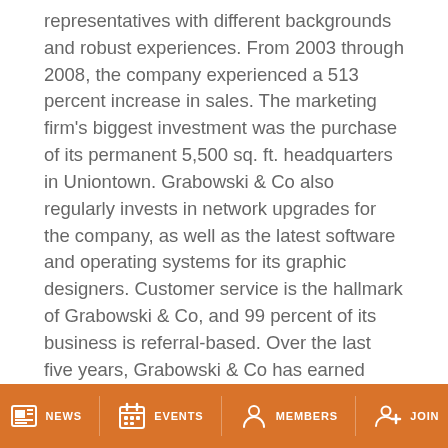representatives with different backgrounds and robust experiences. From 2003 through 2008, the company experienced a 513 percent increase in sales. The marketing firm's biggest investment was the purchase of its permanent 5,500 sq. ft. headquarters in Uniontown. Grabowski & Co also regularly invests in network upgrades for the company, as well as the latest software and operating systems for its graphic designers. Customer service is the hallmark of Grabowski & Co, and 99 percent of its business is referral-based. Over the last five years, Grabowski & Co has earned more than 30 gold and silver ADDY® Awards at the local Canton Advertising Federation competition. Grabowski & Co is dedicated to innovation and always brings big-picture thinking to the table.
NEWS   EVENTS   MEMBERS   JOIN